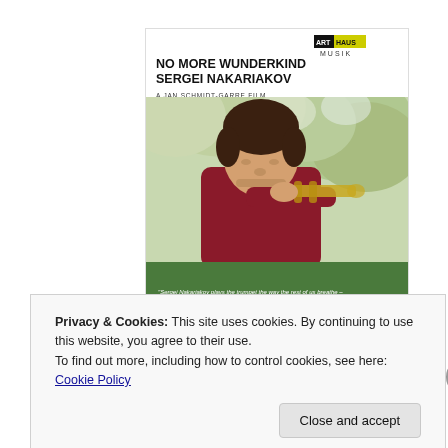[Figure (illustration): Album/DVD cover for 'No More Wunderkind – Sergei Nakariakov', a Jan Schmidt-Garre film. Shows a young man playing trumpet against a green background, with the Arthaus Musik logo and a quote in a green bar at the bottom.]
Privacy & Cookies: This site uses cookies. By continuing to use this website, you agree to their use.
To find out more, including how to control cookies, see here: Cookie Policy